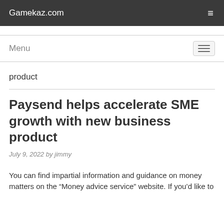Gamekaz.com
Menu
product
Paysend helps accelerate SME growth with new business product
July 9, 2022 by jimmy
You can find impartial information and guidance on money matters on the “Money advice service” website. If you’d like to